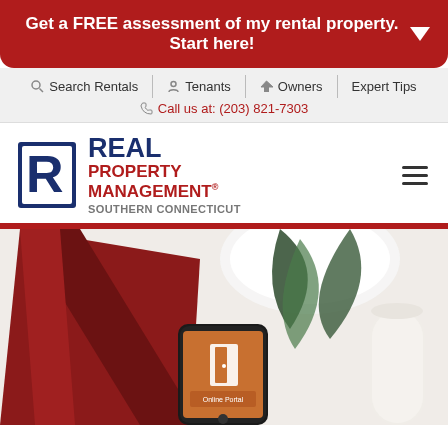Get a FREE assessment of my rental property. Start here!
Search Rentals | Tenants | Owners | Expert Tips | Call us at: (203) 821-7303
[Figure (logo): Real Property Management Southern Connecticut logo with blue and red R icon]
[Figure (photo): Overhead flat lay photo showing a dark red journal, a smartphone displaying an Online Portal app, a potted plant, and a candle on a white surface]